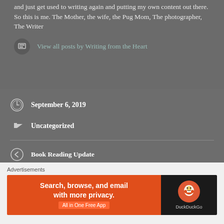and just get used to writing again and putting my own content out there. So this is me. The Mother, the wife, the Pug Mom, The photographer, The Writer
View all posts by Writing from the Heart
September 6, 2019
Uncategorized
Book Reading Update
#blogtour – Star in the Shadows by Helen Buckley
Advertisements
[Figure (screenshot): DuckDuckGo advertisement banner: orange left panel with text 'Search, browse, and email with more privacy. All in One Free App' and dark right panel with DuckDuckGo duck logo]